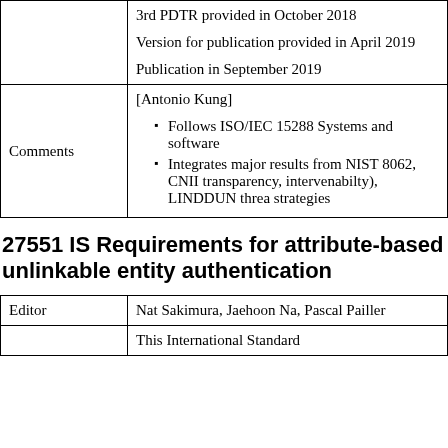|  | 3rd PDTR provided in October 2018
Version for publication provided in April 2019
Publication in September 2019 |
| Comments | [Antonio Kung]
• Follows ISO/IEC 15288 Systems and software
• Integrates major results from NIST 8062, CNII transparency, intervenabilty), LINDDUN threa strategies |
27551 IS Requirements for attribute-based unlinkable entity authentication
| Editor | Nat Sakimura, Jaehoon Na, Pascal Pailler |
| --- | --- |
| Editor | Nat Sakimura, Jaehoon Na, Pascal Pailler |
|  | This International Standard |